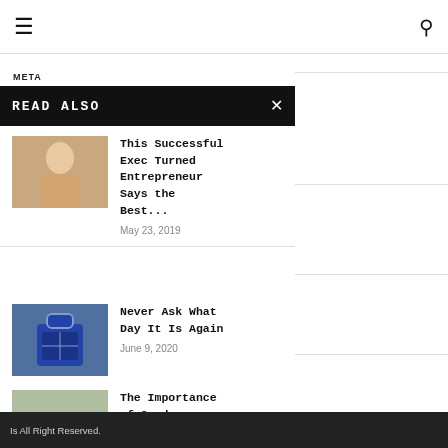≡  🔍
META
READ ALSO  ×
[Figure (photo): Photo of a woman sitting on a couch, possibly working or relaxing]
This Successful Exec Turned Entrepreneur Says the Best...
May 23, 2019
[Figure (photo): Photo of a blue TARDIS-style bag]
Never Ask What Day It Is Again
June 9, 2020
[Figure (photo): Photo of people at a desk looking at charts and documents]
The Importance of Good Leadership for a Successful...
Is All Right Reserved.